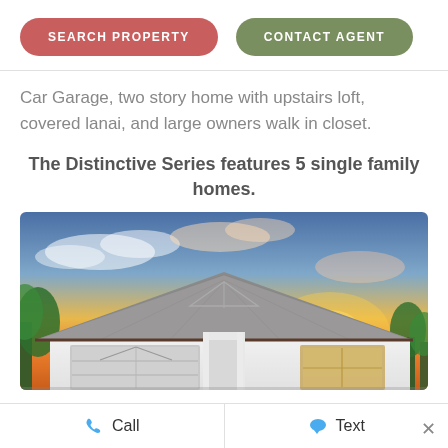SEARCH PROPERTY
CONTACT AGENT
Car Garage, two story home with upstairs loft, covered lanai, and large owners walk in closet.
The Distinctive Series features 5 single family homes.
[Figure (photo): Exterior photo of a single-family home at sunset, showing a grey shingled roof, white facade with decorative trim, garage door, and palm trees in the background against a colorful orange and blue sky.]
Call
Text